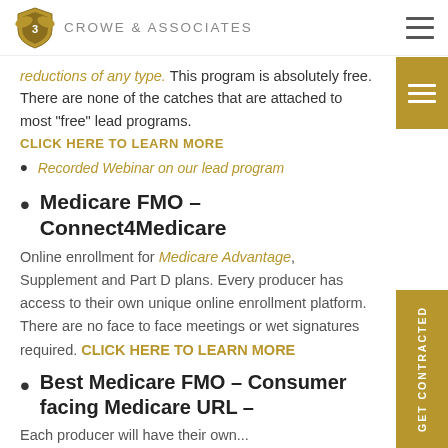Crowe & Associates
reductions of any type. This program is absolutely free. There are none of the catches that are attached to most “free” lead programs. CLICK HERE TO LEARN MORE
Recorded Webinar on our lead program
Medicare FMO – Connect4Medicare
Online enrollment for Medicare Advantage, Supplement and Part D plans. Every producer has access to their own unique online enrollment platform. There are no face to face meetings or wet signatures required. CLICK HERE TO LEARN MORE
Best Medicare FMO – Consumer facing Medicare URL –
Each producer will have their own...